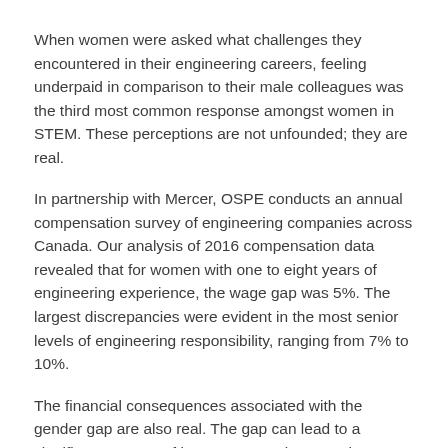When women were asked what challenges they encountered in their engineering careers, feeling underpaid in comparison to their male colleagues was the third most common response amongst women in STEM. These perceptions are not unfounded; they are real.
In partnership with Mercer, OSPE conducts an annual compensation survey of engineering companies across Canada. Our analysis of 2016 compensation data revealed that for women with one to eight years of engineering experience, the wage gap was 5%. The largest discrepancies were evident in the most senior levels of engineering responsibility, ranging from 7% to 10%.
The financial consequences associated with the gender gap are also real. The gap can lead to a significant amount of lost compensation over the course of a woman's career. Women who are paid less than men for completing similar work are likely to feel undervalued, discouraged and